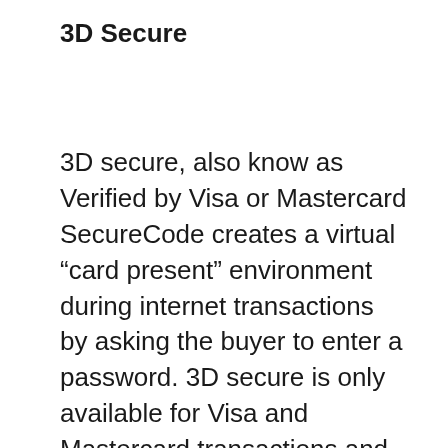3D Secure
3D secure, also know as Verified by Visa or Mastercard SecureCode creates a virtual “card present” environment during internet transactions by asking the buyer to enter a password. 3D secure is only available for Visa and Mastercard transactions and as yet